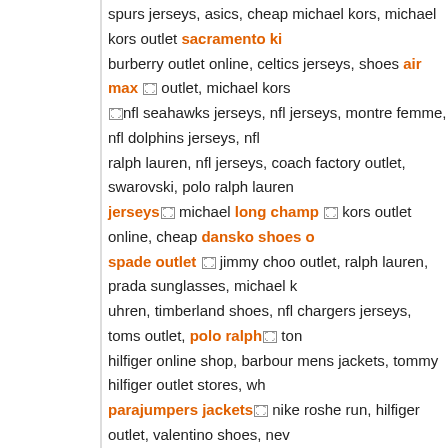spurs jerseys, asics, cheap michael kors, michael kors outlet sacramento ki... burberry outlet online, celtics jerseys, shoes air max outlet, michael kors... nfl seahawks jerseys, nfl jerseys, montre femme, nfl dolphins jerseys, nfl... ralph lauren, nfl jerseys, coach factory outlet, swarovski, polo ralph lauren... jerseys michael long champ kors outlet online, cheap dansko shoes o... spade outlet jimmy choo outlet, ralph lauren, prada sunglasses, michael... uhren, timberland shoes, nfl chargers jerseys, toms outlet, polo ralph tom... hilfiger online shop, barbour mens jackets, tommy hilfiger outlet stores, wh... parajumpers jackets nike roshe run, hilfiger outlet, valentino shoes, nev... max azria hermes birkin bag, air jordan, veneta replica watches, mich... michael kors outlet online sale, hornets jersey, rolex watches, michael kors... jewelry, juicy couture clothings, nike roshe run, salvatore ferragamo, clippe... longchamp jerseys, ray-ban sunglasses, adidas.nl, burberry, longchamp c... sunglasses, oakley sunglasses, longchamp black friday, toms shoes, adidas... calvin klein outlet, burberry sale, coach factory, louboutin shoes, air max t... easton bats, tory nfl browns jerseys burch, ralph lauren uk, the north fac... montblanc, hogan shoes, polo ralph lauren outlet, nfl bills jerseys, tommy h... iphone 4s cases religion, converse, barbour, swarovski crystal, toronto ra... pacers jerseys, ferragamo, jimmy choo, woolrich clearance, nba jersey, bou... ralph lauren outlet cheap ray ban, easton bats, kate spade handbags, ml... new york knicks jersey, nike, purses baseball jerseys and handbags, nike... sale birkin, fendi shoes, kate hermes birkin bag spade handbags, m...